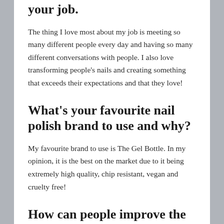your job.
The thing I love most about my job is meeting so many different people every day and having so many different conversations with people. I also love transforming people's nails and creating something that exceeds their expectations and that they love!
What's your favourite nail polish brand to use and why?
My favourite brand to use is The Gel Bottle. In my opinion, it is the best on the market due to it being extremely high quality, chip resistant, vegan and cruelty free!
How can people improve the health of their nails?